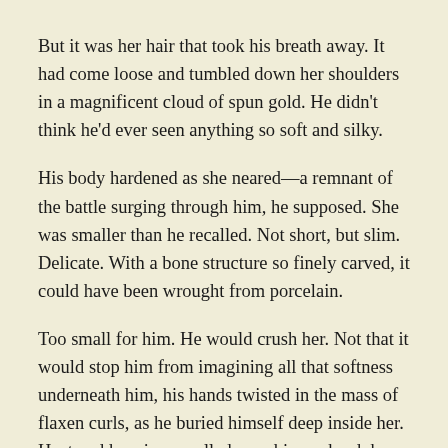But it was her hair that took his breath away. It had come loose and tumbled down her shoulders in a magnificent cloud of spun gold. He didn't think he'd ever seen anything so soft and silky.
His body hardened as she neared—a remnant of the battle surging through him, he supposed. She was smaller than he recalled. Not short, but slim. Delicate. With a bone structure so finely carved, it could have been wrought from porcelain.
Too small for him. He would crush her. Not that it would stop him from imagining all that softness underneath him, his hands twisted in the mass of flaxen curls, as he buried himself deep inside her. Heat and heaviness pulled over him so hard, he